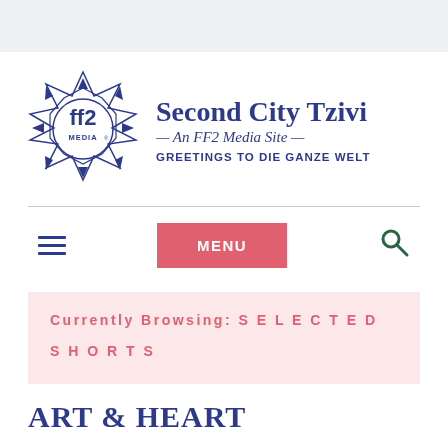[Figure (logo): FF2 Media star/compass logo with 'ff2 MEDIA' text inside geometric star shape]
Second City Tzivi — An FF2 Media Site — GREETINGS TO DIE GANZE WELT
MENU
Currently Browsing: SELECTED SHORTS
ART & HEART